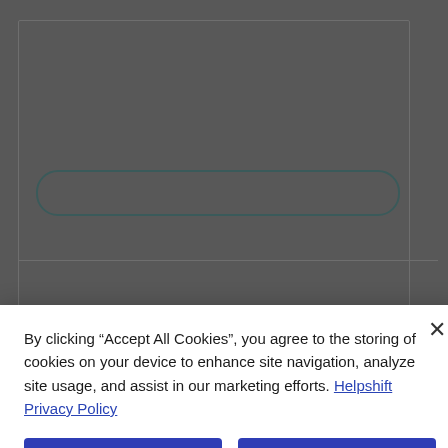[Figure (screenshot): Background web page with gray overlay, showing a search input field with rounded border and a horizontal divider line]
By clicking “Accept All Cookies”, you agree to the storing of cookies on your device to enhance site navigation, analyze site usage, and assist in our marketing efforts. Helpshift Privacy Policy
Accept All Cookies
Reject All